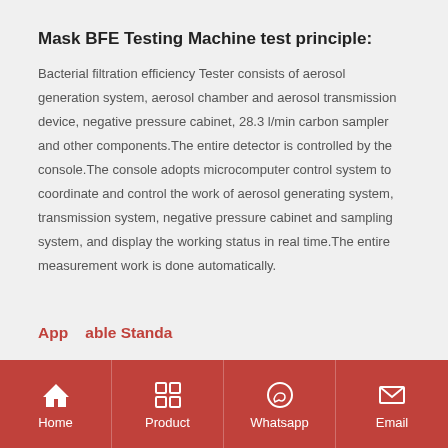Mask BFE Testing Machine test principle:
Bacterial filtration efficiency Tester consists of aerosol generation system, aerosol chamber and aerosol transmission device, negative pressure cabinet, 28.3 l/min carbon sampler and other components.The entire detector is controlled by the console.The console adopts microcomputer control system to coordinate and control the work of aerosol generating system, transmission system, negative pressure cabinet and sampling system, and display the working status in real time.The entire measurement work is done automatically.
Home | Product | Whatsapp | Email